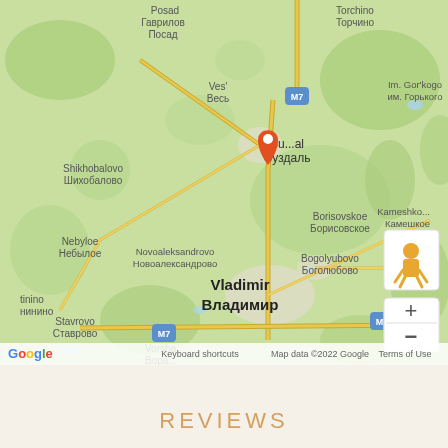[Figure (map): Google Maps screenshot showing the area around Suzdal (Суздаль) and Vladimir (Владимир) in Russia, with road M7 visible, surrounding towns labeled in both Latin and Cyrillic script, a red location pin on Suzdal, Street View pegman icon, zoom controls (+/-), Google logo, and footer bar with 'Keyboard shortcuts', 'Map data ©2022 Google', 'Terms of Use'.]
REVIEWS